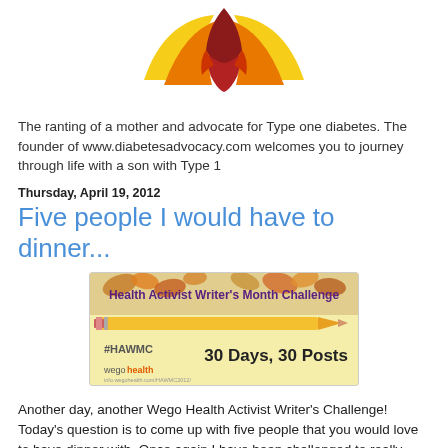[Figure (logo): Diabetes advocacy logo — stylized red and orange flame/bird shape with yellow wing accents]
The ranting of a mother and advocate for Type one diabetes. The founder of www.diabetesadvocacy.com welcomes you to journey through life with a son with Type 1
Thursday, April 19, 2012
Five people I would have to dinner...
[Figure (illustration): Health Activist Writer's Month Challenge banner — shows pencil graphic, leaves background, #HAWMC hashtag, '30 Days, 30 Posts' text, Wego Health branding]
Another day, another Wego Health Activist Writer's Challenge! Today's question is to come up with five people that you would love to have dinner with. Once again I have been challenged to really think.  I am very blessed to have